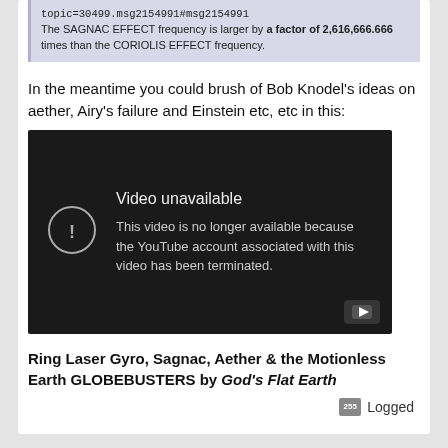topic=30499.msg2154991#msg2154991
The SAGNAC EFFECT frequency is larger by a factor of 2,616,666.666 times than the CORIOLIS EFFECT frequency.
In the meantime you could brush of Bob Knodel's ideas on aether, Airy's failure and Einstein etc, etc in this:
[Figure (screenshot): YouTube video unavailable screen: dark background with exclamation icon in circle. Text reads 'Video unavailable. This video is no longer available because the YouTube account associated with this video has been terminated.' YouTube play button icon in bottom right.]
Ring Laser Gyro, Sagnac, Aether & the Motionless Earth GLOBEBUSTERS by God's Flat Earth
Logged